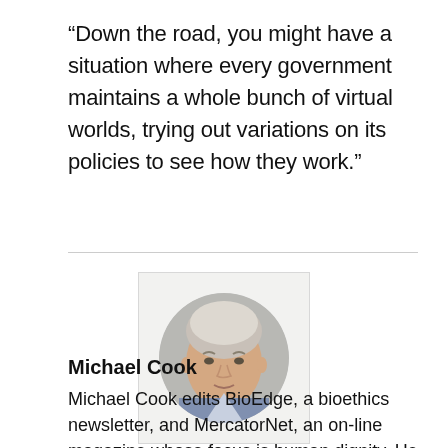“Down the road, you might have a situation where every government maintains a whole bunch of virtual worlds, trying out variations on its policies to see how they work.”
[Figure (photo): Headshot photo of Michael Cook, an older man with grey-white hair, in a circular crop, set against a light grey background inside a square frame.]
Michael Cook
Michael Cook edits BioEdge, a bioethics newsletter, and MercatorNet, an on-line magazine whose focus is human dignity. He writes from